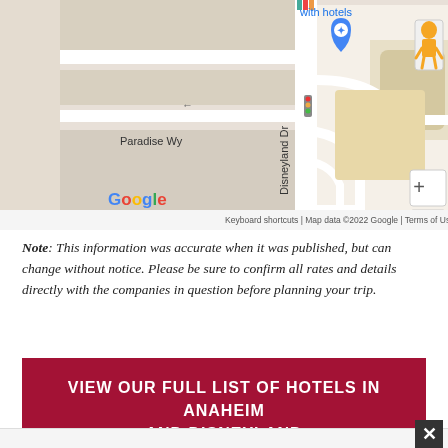[Figure (map): Google Maps screenshot showing Disneyland Dr area in Anaheim with a red location pin marker and a blue navigation pin. Street labels include 'Paradise Wy' and 'Disneyland Dr'. Bottom bar shows 'Keyboard shortcuts | Map data ©2022 Google | Terms of Use'. A pegman/street view icon and zoom controls appear on the right side.]
Note: This information was accurate when it was published, but can change without notice. Please be sure to confirm all rates and details directly with the companies in question before planning your trip.
VIEW OUR FULL LIST OF HOTELS IN ANAHEIM AND DISNEYLAND